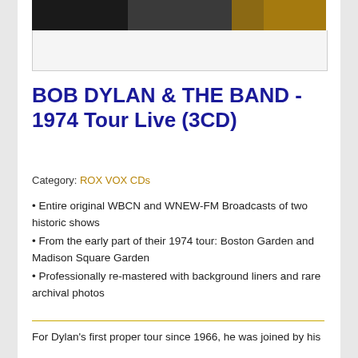[Figure (photo): Partial view of a photo showing people, partially cropped at the top of the page]
BOB DYLAN & THE BAND - 1974 Tour Live (3CD)
Category: ROX VOX CDs
Entire original WBCN and WNEW-FM Broadcasts of two historic shows
From the early part of their 1974 tour: Boston Garden and Madison Square Garden
Professionally re-mastered with background liners and rare archival photos
For Dylan's first proper tour since 1966, he was joined by his